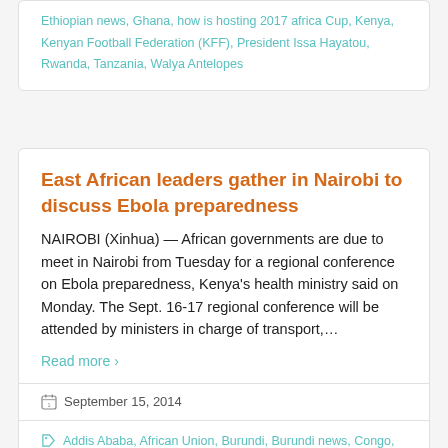Ethiopian news, Ghana, how is hosting 2017 africa Cup, Kenya, Kenyan Football Federation (KFF), President Issa Hayatou, Rwanda, Tanzania, Walya Antelopes
East African leaders gather in Nairobi to discuss Ebola preparedness
NAIROBI (Xinhua) — African governments are due to meet in Nairobi from Tuesday for a regional conference on Ebola preparedness, Kenya's health ministry said on Monday. The Sept. 16-17 regional conference will be attended by ministers in charge of transport,…
Read more ›
September 15, 2014
Addis Ababa, African Union, Burundi, Burundi news, Congo, Director of Medical Services, East Africa Community (EAC), East African health authorities, East African nations on high alert for Ebola, Ebola, Ebola care, Ebola fears, Ebola in East Africa, Ebola in Ethiopia, ebola in nairobi, Ebola in West Africa, Ebola medicines,